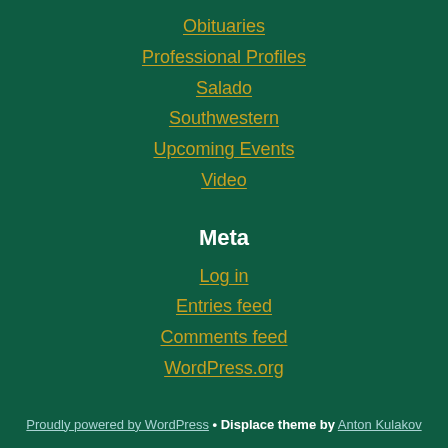Obituaries
Professional Profiles
Salado
Southwestern
Upcoming Events
Video
Meta
Log in
Entries feed
Comments feed
WordPress.org
Proudly powered by WordPress • Displace theme by Anton Kulakov